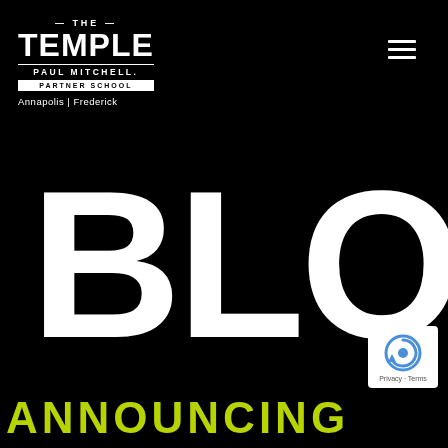[Figure (logo): The Temple Paul Mitchell Partner School logo in white on black background, with locations Annapolis | Frederick]
[Figure (other): Hamburger menu icon (three horizontal white lines) in top right]
BLOG
ANNOUNCING
[Figure (other): reCAPTCHA badge widget with circular arrow logo and Privacy - Terms links]